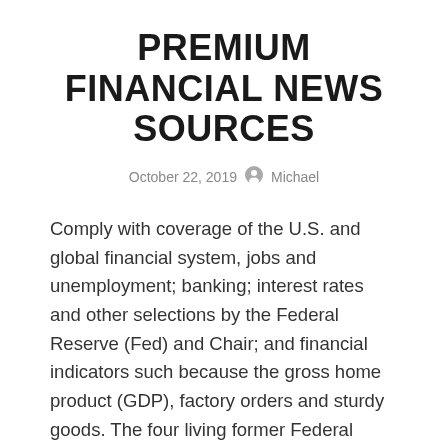PREMIUM FINANCIAL NEWS SOURCES
October 22, 2019   Michael
Comply with coverage of the U.S. and global financial system, jobs and unemployment; banking; interest rates and other selections by the Federal Reserve (Fed) and Chair; and financial indicators such because the gross home product (GDP), factory orders and sturdy goods. The four living former Federal Reserve chairs band collectively to emphasize the significance of an independent Fed chair who’s “permitted